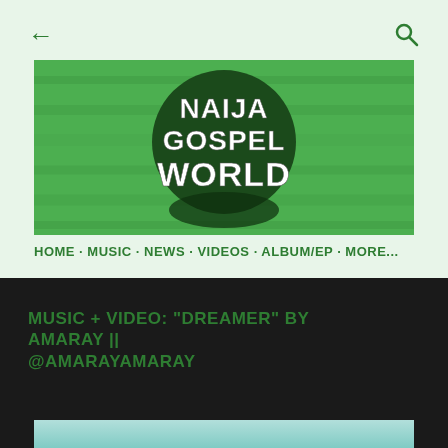[Figure (screenshot): Mobile browser navigation bar with back arrow on left and search icon on right, on light green background]
[Figure (logo): Naija Gospel World banner logo: green grass background with dark green circle containing white bold text reading NAIJA GOSPEL WORLD]
HOME · MUSIC · NEWS · VIDEOS · ALBUM/EP · MORE...
MUSIC + VIDEO: "DREAMER" BY AMARAY || @AMARAYAMARAY
[Figure (photo): Bottom partial image strip in teal/blue-green color, partially visible at bottom of page]